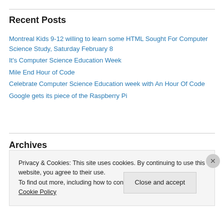Recent Posts
Montreal Kids 9-12 willing to learn some HTML Sought For Computer Science Study, Saturday February 8
It's Computer Science Education Week
Mile End Hour of Code
Celebrate Computer Science Education week with An Hour Of Code
Google gets its piece of the Raspberry Pi
Archives
Privacy & Cookies: This site uses cookies. By continuing to use this website, you agree to their use.
To find out more, including how to control cookies, see here: Cookie Policy